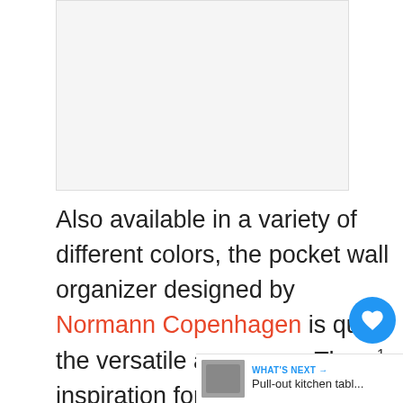[Figure (photo): Placeholder image area for a pocket wall organizer product photo]
Also available in a variety of different colors, the pocket wall organizer designed by Normann Copenhagen is quite the versatile accessory. The inspiration for its design comes an actual shirt pock… be used to hold magazines and small
[Figure (other): What's Next UI widget showing a thumbnail with label 'WHAT'S NEXT →' and title 'Pull-out kitchen tabl...']